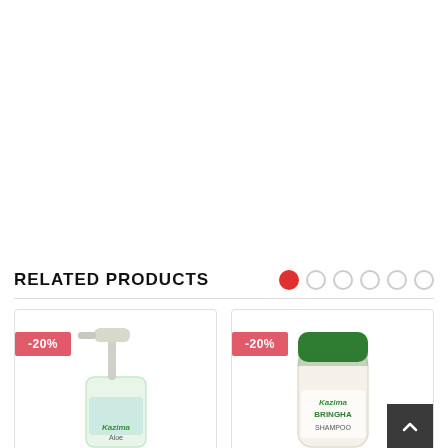RELATED PRODUCTS
[Figure (other): Carousel navigation dots (1 active red, 5 empty circles)]
[Figure (photo): Kazima Aloe product in pump bottle with -20% discount badge]
[Figure (photo): Kazima Bringha Shampoo bottle with -20% discount badge]